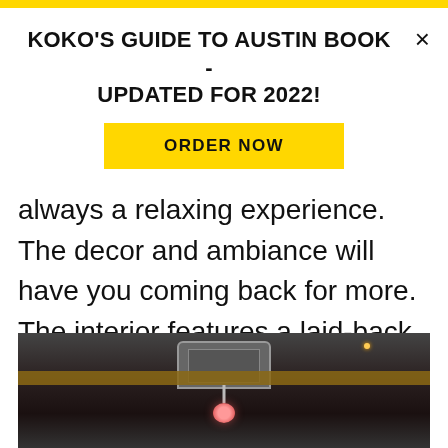KOKO'S GUIDE TO AUSTIN BOOK - UPDATED FOR 2022!
ORDER NOW
always a relaxing experience. The decor and ambiance will have you coming back for more. The interior features a laid-back, sophisticated setting perfect for a drink at the bar, while the outdoor is great for socializing or taking in the wonderful view.
[Figure (photo): Interior ceiling/bar area photo showing dark ceiling with metal ductwork, hanging chain fixtures, a red lantern, and a wooden beam.]